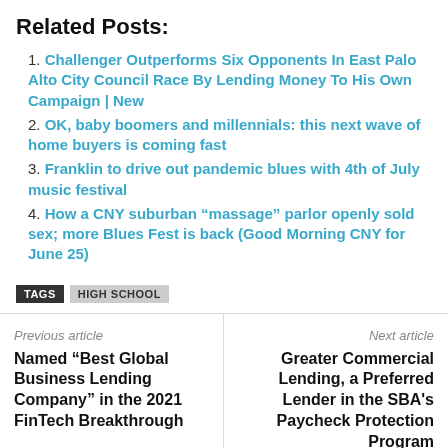Related Posts:
1. Challenger Outperforms Six Opponents In East Palo Alto City Council Race By Lending Money To His Own Campaign | New
2. OK, baby boomers and millennials: this next wave of home buyers is coming fast
3. Franklin to drive out pandemic blues with 4th of July music festival
4. How a CNY suburban “massage” parlor openly sold sex; more Blues Fest is back (Good Morning CNY for June 25)
TAGS  HIGH SCHOOL
Previous article
Named “Best Global Business Lending Company” in the 2021 FinTech Breakthrough
Next article
Greater Commercial Lending, a Preferred Lender in the SBA's Paycheck Protection Program